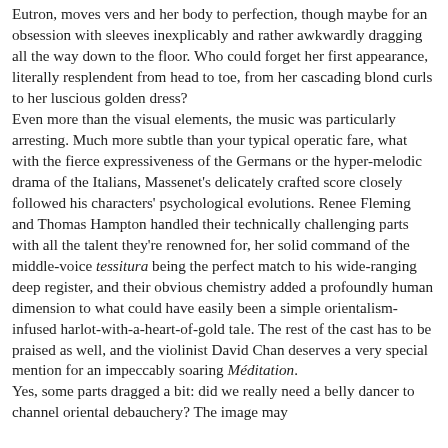Eutron, moves vers and her body to perfection, though maybe for an obsession with sleeves inexplicably and rather awkwardly dragging all the way down to the floor. Who could forget her first appearance, literally resplendent from head to toe, from her cascading blond curls to her luscious golden dress? Even more than the visual elements, the music was particularly arresting. Much more subtle than your typical operatic fare, what with the fierce expressiveness of the Germans or the hyper-melodic drama of the Italians, Massenet's delicately crafted score closely followed his characters' psychological evolutions. Renee Fleming and Thomas Hampton handled their technically challenging parts with all the talent they're renowned for, her solid command of the middle-voice tessitura being the perfect match to his wide-ranging deep register, and their obvious chemistry added a profoundly human dimension to what could have easily been a simple orientalism-infused harlot-with-a-heart-of-gold tale. The rest of the cast has to be praised as well, and the violinist David Chan deserves a very special mention for an impeccably soaring Méditation. Yes, some parts dragged a bit: did we really need a belly dancer to channel oriental debauchery? The image may